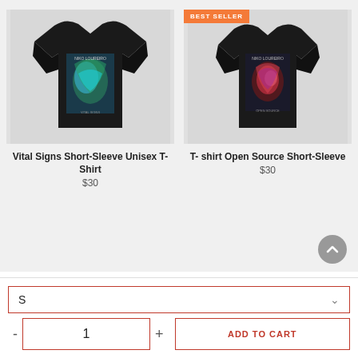[Figure (photo): Black t-shirt with blue/green abstract graphic design by Niko Loureiro - Vital Signs Short-Sleeve Unisex T-Shirt]
Vital Signs Short-Sleeve Unisex T-Shirt
$30
[Figure (photo): Black t-shirt with red/pink abstract graphic design - T-shirt Open Source Short-Sleeve, marked as BEST SELLER]
T- shirt Open Source Short-Sleeve
$30
S
1
ADD TO CART